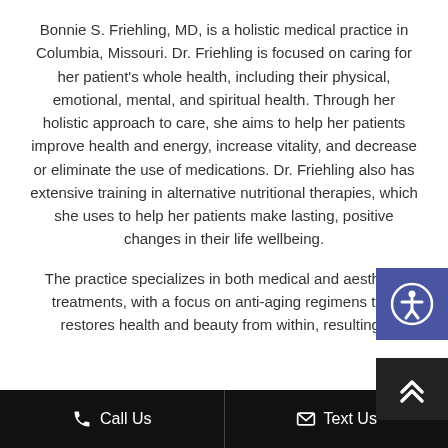Bonnie S. Friehling, MD, is a holistic medical practice in Columbia, Missouri. Dr. Friehling is focused on caring for her patient's whole health, including their physical, emotional, mental, and spiritual health. Through her holistic approach to care, she aims to help her patients improve health and energy, increase vitality, and decrease or eliminate the use of medications. Dr. Friehling also has extensive training in alternative nutritional therapies, which she uses to help her patients make lasting, positive changes in their life wellbeing.
The practice specializes in both medical and aesthetic treatments, with a focus on anti-aging regimens that restores health and beauty from within, resulting i
Call Us   Text Us